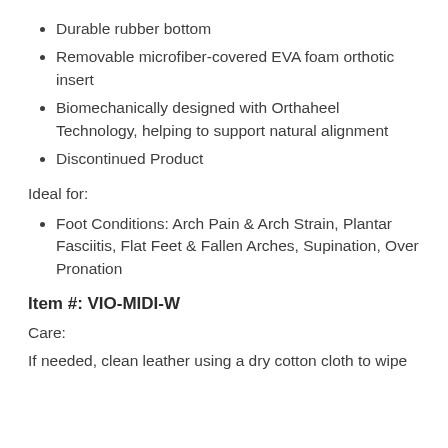Durable rubber bottom
Removable microfiber-covered EVA foam orthotic insert
Biomechanically designed with Orthaheel Technology, helping to support natural alignment
Discontinued Product
Ideal for:
Foot Conditions: Arch Pain & Arch Strain, Plantar Fasciitis, Flat Feet & Fallen Arches, Supination, Over Pronation
Item #: VIO-MIDI-W
Care:
If needed, clean leather using a dry cotton cloth to wipe